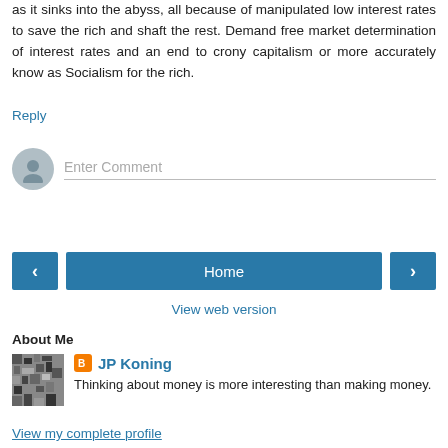as it sinks into the abyss, all because of manipulated low interest rates to save the rich and shaft the rest. Demand free market determination of interest rates and an end to crony capitalism or more accurately know as Socialism for the rich.
Reply
[Figure (other): Comment input box with a user avatar circle on the left and 'Enter Comment' placeholder text with a bottom border line]
[Figure (other): Navigation bar with left arrow button, Home button, and right arrow button]
View web version
About Me
[Figure (photo): Small profile photo with abstract black and white pattern]
JP Koning
Thinking about money is more interesting than making money.
View my complete profile